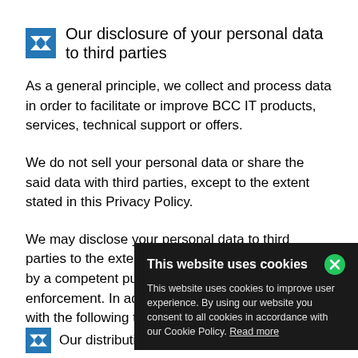Our disclosure of your personal data to third parties
As a general principle, we collect and process data in order to facilitate or improve BCC IT products, services, technical support or offers.
We do not sell your personal data or share the said data with third parties, except to the extent stated in this Privacy Policy.
We may disclose your personal data to third parties to the extent required by [text cut off] by a competent pu[blic authority] enforcement. In ad[dition] with the following t[hird parties]
[Figure (other): Cookie consent banner overlay with title 'This website uses cookies', body text about cookies improving user experience and consent, with a green close button and underlined 'Read more' link.]
[Figure (logo): BCC logo icon (blue stylized double-arrow) next to partial text 'Our distributi[on...]']